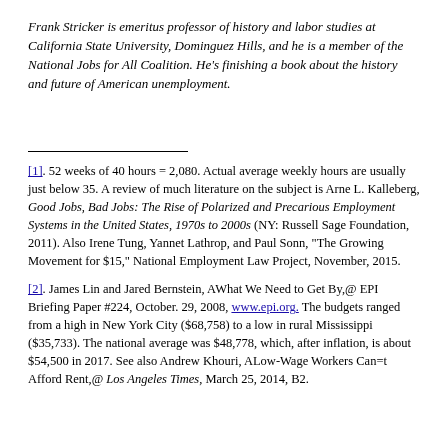Frank Stricker is emeritus professor of history and labor studies at California State University, Dominguez Hills, and he is a member of the National Jobs for All Coalition. He's finishing a book about the history and future of American unemployment.
[1]. 52 weeks of 40 hours = 2,080. Actual average weekly hours are usually just below 35. A review of much literature on the subject is Arne L. Kalleberg, Good Jobs, Bad Jobs: The Rise of Polarized and Precarious Employment Systems in the United States, 1970s to 2000s (NY: Russell Sage Foundation, 2011). Also Irene Tung, Yannet Lathrop, and Paul Sonn, "The Growing Movement for $15," National Employment Law Project, November, 2015.
[2]. James Lin and Jared Bernstein, AWhat We Need to Get By,@ EPI Briefing Paper #224, October. 29, 2008, www.epi.org. The budgets ranged from a high in New York City ($68,758) to a low in rural Mississippi ($35,733). The national average was $48,778, which, after inflation, is about $54,500 in 2017. See also Andrew Khouri, ALow-Wage Workers Can=t Afford Rent,@ Los Angeles Times, March 25, 2014, B2.